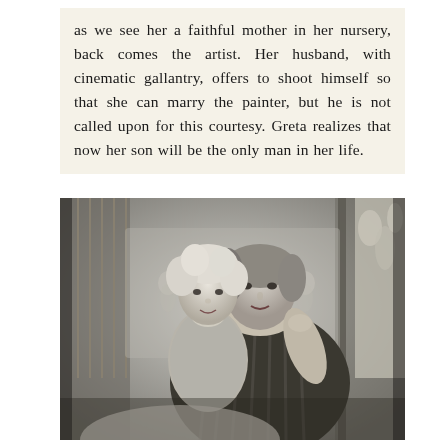as we see her a faithful mother in her nursery, back comes the artist. Her husband, with cinematic gallantry, offers to shoot himself so that she can marry the painter, but he is not called upon for this courtesy. Greta realizes that now her son will be the only man in her life.
[Figure (photo): Black and white photograph of a woman (Greta) holding a young curly-haired child in what appears to be a nursery setting with a crib and curtains visible in the background.]